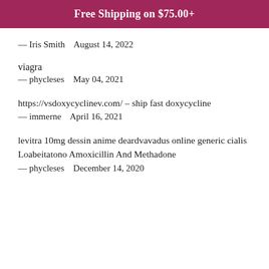Free Shipping on $75.00+
— Iris Smith    August 14, 2022
viagra
— phycleses    May 04, 2021
https://vsdoxycyclinev.com/ – ship fast doxycycline
— immerne    April 16, 2021
levitra 10mg dessin anime deardvavadus online generic cialis Loabeitatono Amoxicillin And Methadone
— phycleses    December 14, 2020